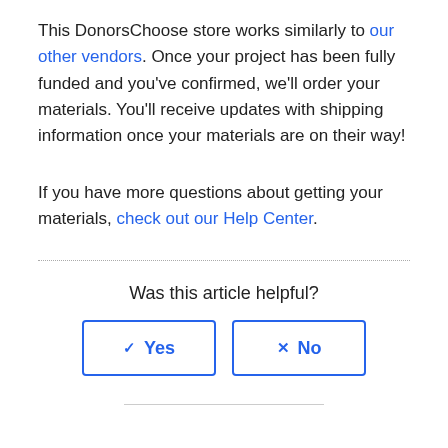This DonorsChoose store works similarly to our other vendors. Once your project has been fully funded and you've confirmed, we'll order your materials. You'll receive updates with shipping information once your materials are on their way!
If you have more questions about getting your materials, check out our Help Center.
Was this article helpful?
Yes | No